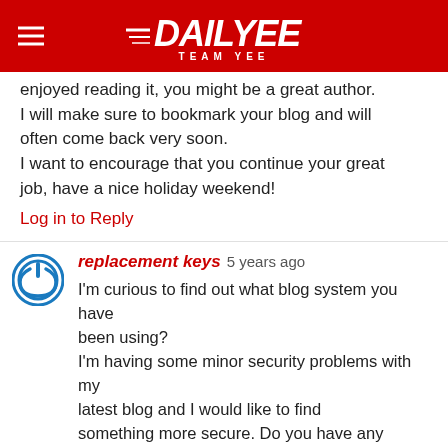DAILYEE TEAM YEE
enjoyed reading it, you might be a great author. I will make sure to bookmark your blog and will often come back very soon.
I want to encourage that you continue your great job, have a nice holiday weekend!
Log in to Reply
replacement keys 5 years ago
I'm curious to find out what blog system you have been using?
I'm having some minor security problems with my latest blog and I would like to find something more secure. Do you have any recommendations?
Log in to Reply